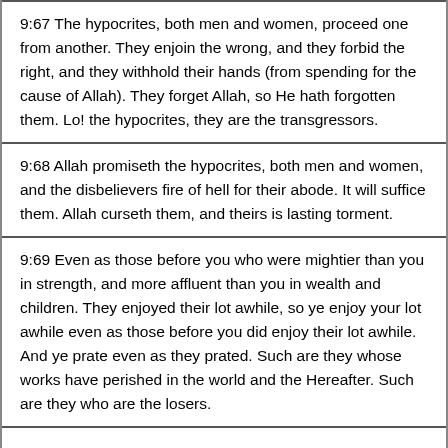9:67 The hypocrites, both men and women, proceed one from another. They enjoin the wrong, and they forbid the right, and they withhold their hands (from spending for the cause of Allah). They forget Allah, so He hath forgotten them. Lo! the hypocrites, they are the transgressors.
9:68 Allah promiseth the hypocrites, both men and women, and the disbelievers fire of hell for their abode. It will suffice them. Allah curseth them, and theirs is lasting torment.
9:69 Even as those before you who were mightier than you in strength, and more affluent than you in wealth and children. They enjoyed their lot awhile, so ye enjoy your lot awhile even as those before you did enjoy their lot awhile. And ye prate even as they prated. Such are they whose works have perished in the world and the Hereafter. Such are they who are the losers.